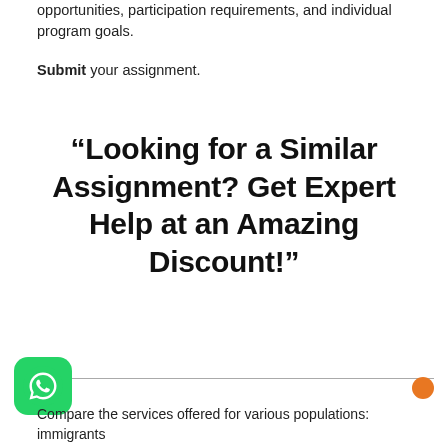opportunities, participation requirements, and individual program goals.
Submit your assignment.
“Looking for a Similar Assignment? Get Expert Help at an Amazing Discount!”
Compare the services offered for various populations: immigrants